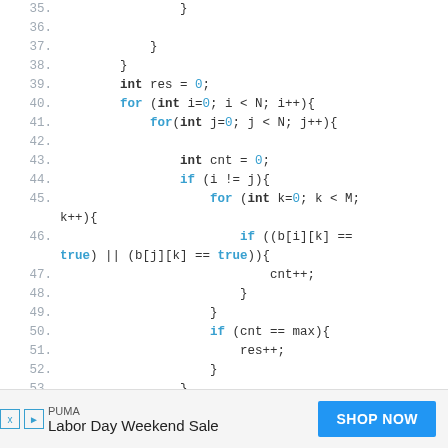Code snippet lines 35-57 showing nested for loops with boolean array comparisons in Java/C++
[Figure (screenshot): Advertisement banner: PUMA Labor Day Weekend Sale with SHOP NOW button]